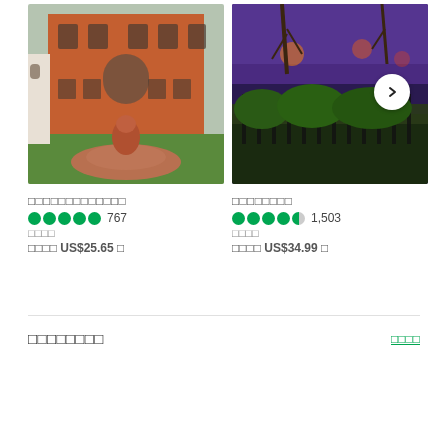[Figure (photo): Red brick building with lion fountain in foreground, outdoor garden]
□□□□□□□□□□□□□
767 reviews, 5 stars
□□□□
□□□□ US$25.65 □
[Figure (photo): Night cityscape with purple sky and green hedge fence]
□□□□□□□□
1,503 reviews, 4.5 stars
□□□□
□□□□ US$34.99 □
□□□□□□□□
□□□□